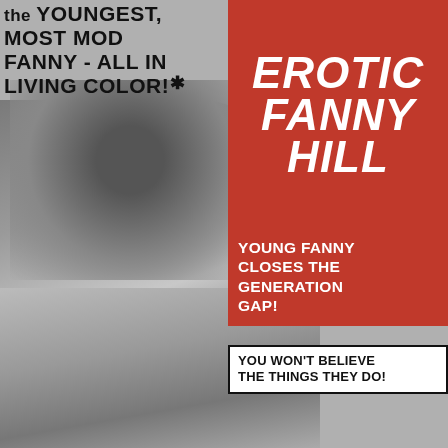the youngest, MOST MOD FANNY - All In LIVING COLOR!
EROTIC FANNY HILL
YOUNG FANNY CLOSES THE GENERATION GAP!
YOU WON'T BELIEVE THE THINGS THEY DO!
[Figure (photo): Black and white movie poster photo collage showing couples in romantic scenes]